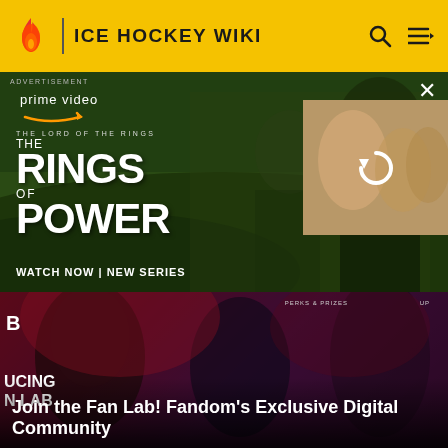ICE HOCKEY WIKI
[Figure (screenshot): Amazon Prime Video advertisement for 'The Lord of the Rings: The Rings of Power'. Shows characters from the show, text reads 'prime video', 'THE LORD OF THE RINGS', 'THE RINGS OF POWER', 'WATCH NOW | NEW SERIES'. Secondary image panel showing blonde character with a reload/loading icon overlay. Close button (X) in top right.]
[Figure (screenshot): Fandom Fan Lab promotional banner showing comic/fantasy characters including a masked superhero woman, Spider-Man-like character, and armored warrior. Text overlay on bottom reads 'Join the Fan Lab! Fandom's Exclusive Digital Community'. Left side partial text 'UCING N LAB'. Top navigation shows 'PERKS & PRIZES' and 'UP' options.]
Join the Fan Lab! Fandom's Exclusive Digital Community